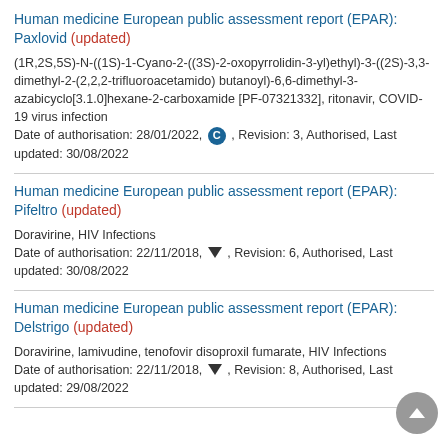Human medicine European public assessment report (EPAR): Paxlovid (updated)
(1R,2S,5S)-N-((1S)-1-Cyano-2-((3S)-2-oxopyrrolidin-3-yl)ethyl)-3-((2S)-3,3-dimethyl-2-(2,2,2-trifluoroacetamido) butanoyl)-6,6-dimethyl-3-azabicyclo[3.1.0]hexane-2-carboxamide [PF-07321332], ritonavir, COVID-19 virus infection
Date of authorisation: 28/01/2022, C, Revision: 3, Authorised, Last updated: 30/08/2022
Human medicine European public assessment report (EPAR): Pifeltro (updated)
Doravirine, HIV Infections
Date of authorisation: 22/11/2018, ▼, Revision: 6, Authorised, Last updated: 30/08/2022
Human medicine European public assessment report (EPAR): Delstrigo (updated)
Doravirine, lamivudine, tenofovir disoproxil fumarate, HIV Infections
Date of authorisation: 22/11/2018, ▼, Revision: 8, Authorised, Last updated: 29/08/2022